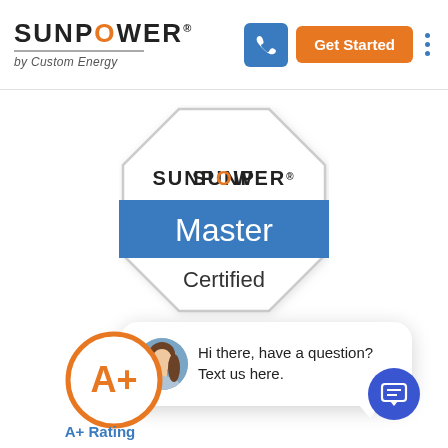[Figure (logo): SunPower by Custom Energy logo with orange O letter]
Get Started
[Figure (infographic): SunPower Master Certified badge - octagon shape with SUNPOWER text in black and orange, blue rectangle with white Master text, and Certified text below]
close
[Figure (photo): Chat popup with woman avatar photo, text: Hi there, have a question? Text us here.]
[Figure (infographic): A+ Rating circle badge with orange ring and A+ in orange text]
A+ Rating